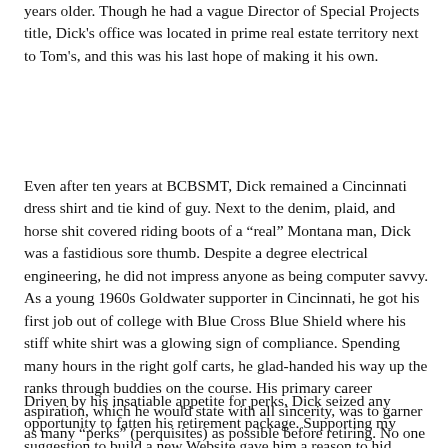years older. Though he had a vague Director of Special Projects title, Dick's office was located in prime real estate territory next to Tom's, and this was his last hope of making it his own.
Even after ten years at BCBSMT, Dick remained a Cincinnati dress shirt and tie kind of guy. Next to the denim, plaid, and horse shit covered riding boots of a “real” Montana man, Dick was a fastidious sore thumb. Despite a degree electrical engineering, he did not impress anyone as being computer savvy. As a young 1960s Goldwater supporter in Cincinnati, he got his first job out of college with Blue Cross Blue Shield where his stiff white shirt was a glowing sign of compliance. Spending many hours in the right golf carts, he glad-handed his way up the ranks through buddies on the course. His primary career aspiration, which he would state with all sincerity, was to garner as many “perks” (perquisites) as possible before retiring. No one in IT bothered to show Dick any respect, including Tom.
Driven by his insatiable appetite for perks, Dick seized any opportunity to fatten his retirement package. Supporting my suggestion to build a new Website gave him a reason to hid